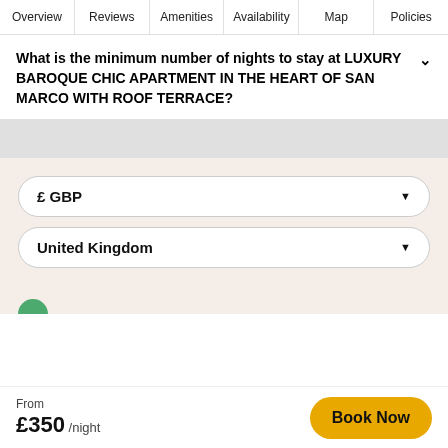Overview | Reviews | Amenities | Availability | Map | Policies
What is the minimum number of nights to stay at LUXURY BAROQUE CHIC APARTMENT IN THE HEART OF SAN MARCO WITH ROOF TERRACE?
£ GBP
United Kingdom
From £350 /night  Book Now